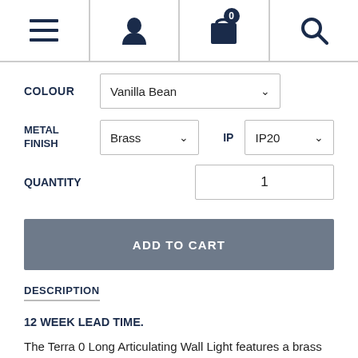Navigation bar with menu, user, cart (0), and search icons
COLOUR: Vanilla Bean
METAL FINISH: Brass   IP: IP20
QUANTITY: 1
ADD TO CART
DESCRIPTION
12 WEEK LEAD TIME.
The Terra 0 Long Articulating Wall Light features a brass or brushed black backplate and a long articulating arm,